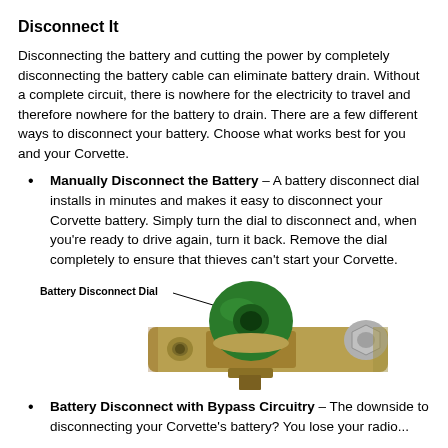Disconnect It
Disconnecting the battery and cutting the power by completely disconnecting the battery cable can eliminate battery drain. Without a complete circuit, there is nowhere for the electricity to travel and therefore nowhere for the battery to drain. There are a few different ways to disconnect your battery. Choose what works best for you and your Corvette.
Manually Disconnect the Battery – A battery disconnect dial installs in minutes and makes it easy to disconnect your Corvette battery. Simply turn the dial to disconnect and, when you're ready to drive again, turn it back. Remove the dial completely to ensure that thieves can't start your Corvette.
[Figure (photo): A battery disconnect dial — a brass rectangular terminal block with a green dial/knob in the center and a silver bolt on the right side. Labeled 'Battery Disconnect Dial'.]
Battery Disconnect with Bypass Circuitry – The downside to disconnecting your Corvette's battery? You lose your radio...